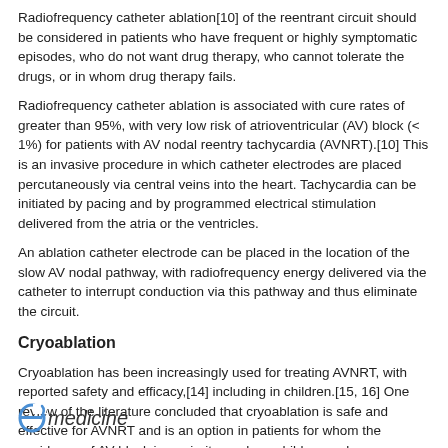Radiofrequency catheter ablation[10] of the reentrant circuit should be considered in patients who have frequent or highly symptomatic episodes, who do not want drug therapy, who cannot tolerate the drugs, or in whom drug therapy fails.
Radiofrequency catheter ablation is associated with cure rates of greater than 95%, with very low risk of atrioventricular (AV) block (< 1%) for patients with AV nodal reentry tachycardia (AVNRT).[10] This is an invasive procedure in which catheter electrodes are placed percutaneously via central veins into the heart. Tachycardia can be initiated by pacing and by programmed electrical stimulation delivered from the atria or the ventricles.
An ablation catheter electrode can be placed in the location of the slow AV nodal pathway, with radiofrequency energy delivered via the catheter to interrupt conduction via this pathway and thus eliminate the circuit.
Cryoablation
Cryoablation has been increasingly used for treating AVNRT, with reported safety and efficacy,[14] including in children.[15, 16] One review of the literature concluded that cryoablation is safe and effective for AVNRT and is an option in patients for whom the avoidance of AV block is a priority, such as children and young adults.[15] A more recent study also found cryoablation to be effective for 125 children with AVNRT (age >10 years), with comparable acute and mid-term follow-up success rates for both 6-mm and 8-mm tip catheters.[16]
[Figure (logo): eMedicine logo with stylized italic e in blue]